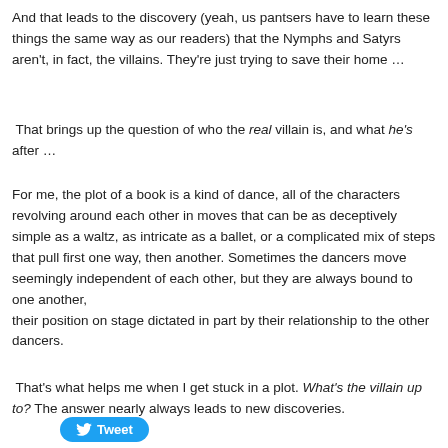And that leads to the discovery (yeah, us pantsers have to learn these things the same way as our readers) that the Nymphs and Satyrs aren't, in fact, the villains. They're just trying to save their home …
That brings up the question of who the real villain is, and what he's after …
For me, the plot of a book is a kind of dance, all of the characters revolving around each other in moves that can be as deceptively simple as a waltz, as intricate as a ballet, or a complicated mix of steps that pull first one way, then another. Sometimes the dancers move seemingly independent of each other, but they are always bound to one another, their position on stage dictated in part by their relationship to the other dancers.
That's what helps me when I get stuck in a plot. What's the villain up to? The answer nearly always leads to new discoveries.
[Figure (other): Tweet button with Twitter bird icon]